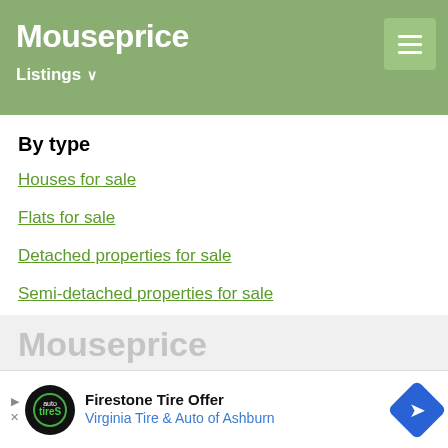Mouseprice — Listings
By type
Houses for sale
Flats for sale
Detached properties for sale
Semi-detached properties for sale
Mouseprice
[Figure (other): Advertisement banner: Firestone Tire Offer — Virginia Tire & Auto of Ashburn]